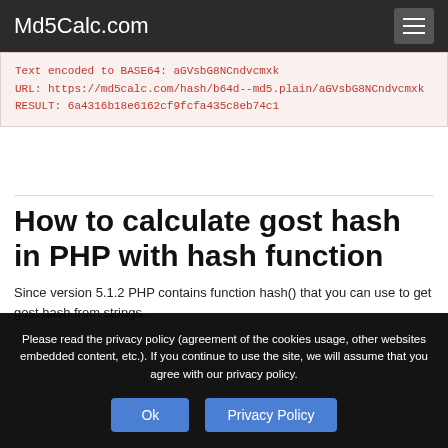Md5Calc.com
Text encoded to BASE64: aGVsbG8NCndvcmxk
URL: https://md5calc.com/hash/b64d--md5.plain/aGVsbG8NCndvcmxk
RESULT: 6a4316b18e6162cf9fcfa435c8eb74c1
How to calculate gost hash in PHP with hash function
Since version 5.1.2 PHP contains function hash() that you can use to get gost hash from strings.
Please read the privacy policy (agreement of the cookies usage, other websites embedded content, etc.). If you continue to use the site, we will assume that you agree with our privacy policy.